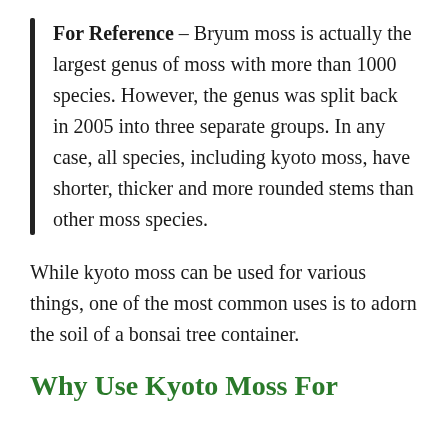For Reference – Bryum moss is actually the largest genus of moss with more than 1000 species. However, the genus was split back in 2005 into three separate groups. In any case, all species, including kyoto moss, have shorter, thicker and more rounded stems than other moss species.
While kyoto moss can be used for various things, one of the most common uses is to adorn the soil of a bonsai tree container.
Why Use Kyoto Moss For